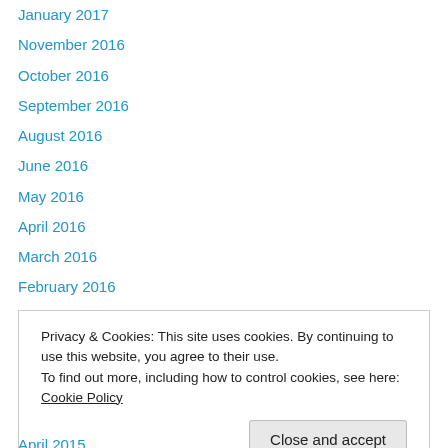January 2017
November 2016
October 2016
September 2016
August 2016
June 2016
May 2016
April 2016
March 2016
February 2016
January 2016
December 2015
November 2015
Privacy & Cookies: This site uses cookies. By continuing to use this website, you agree to their use.
To find out more, including how to control cookies, see here: Cookie Policy
April 2015